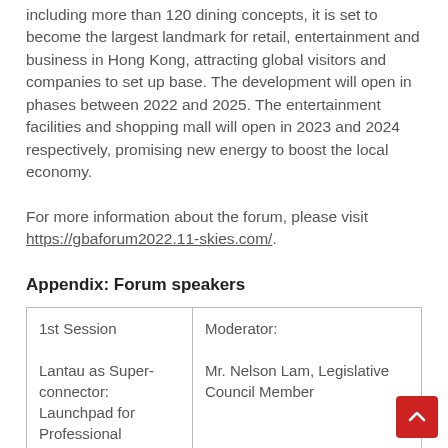including more than 120 dining concepts, it is set to become the largest landmark for retail, entertainment and business in Hong Kong, attracting global visitors and companies to set up base. The development will open in phases between 2022 and 2025. The entertainment facilities and shopping mall will open in 2023 and 2024 respectively, promising new energy to boost the local economy.
For more information about the forum, please visit https://gbaforum2022.11-skies.com/.
Appendix: Forum speakers
| 1st Session

Lantau as Super-connector: Launchpad for Professional | Moderator:

Mr. Nelson Lam, Legislative Council Member |